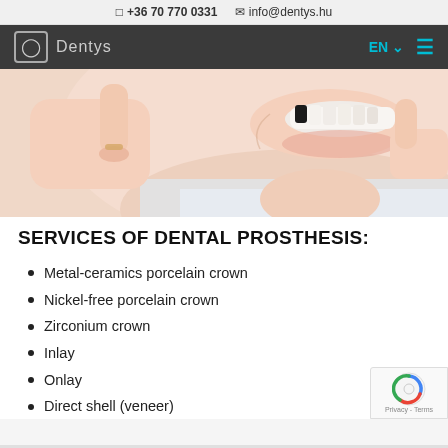+36 70 770 0331   info@dentys.hu
[Figure (screenshot): Dentys dental clinic website navigation bar with logo and EN language/menu controls]
[Figure (photo): Person pointing at missing tooth gap while smiling, dental prosthesis service hero image]
SERVICES OF DENTAL PROSTHESIS:
Metal-ceramics porcelain crown
Nickel-free porcelain crown
Zirconium crown
Inlay
Onlay
Direct shell (veneer)